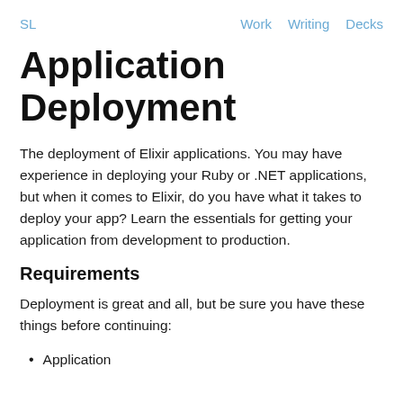SL    Work  Writing  Decks
Application Deployment
The deployment of Elixir applications. You may have experience in deploying your Ruby or .NET applications, but when it comes to Elixir, do you have what it takes to deploy your app? Learn the essentials for getting your application from development to production.
Requirements
Deployment is great and all, but be sure you have these things before continuing:
Application